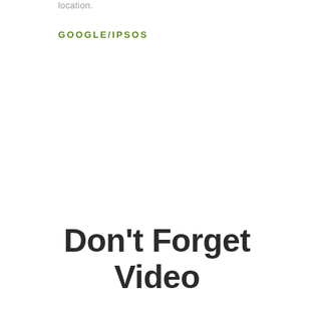location.
GOOGLE/IPSOS
Don't Forget Video